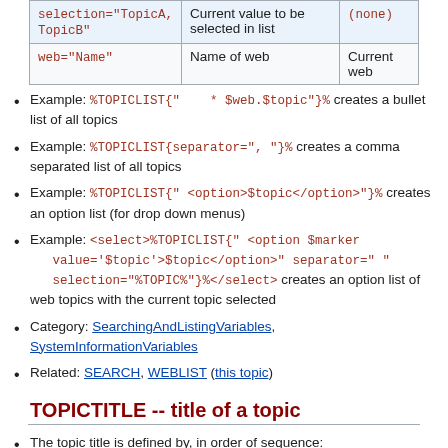| Parameter | Description | Default |
| --- | --- | --- |
| selection="TopicA, TopicB" | Current value to be selected in list | (none) |
| web="Name" | Name of web | Current web |
Example: %TOPICLIST{"    * $web.$topic"}% creates a bullet list of all topics
Example: %TOPICLIST{separator=", "}% creates a comma separated list of all topics
Example: %TOPICLIST{" <option>$topic</option>"}% creates an option list (for drop down menus)
Example: <select>%TOPICLIST{" <option $marker value='$topic'>$topic</option>" separator=" " selection="%TOPIC%"}%</select> creates an option list of web topics with the current topic selected
Category: SearchingAndListingVariables, SystemInformationVariables
Related: SEARCH, WEBLIST (this topic)
TOPICTITLE -- title of a topic
The topic title is defined by, in order of sequence: